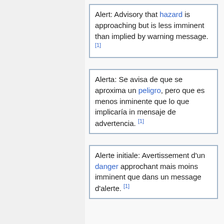Alert: Advisory that hazard is approaching but is less imminent than implied by warning message. [1]
Alerta: Se avisa de que se aproxima un peligro, pero que es menos inminente que lo que implicaría in mensaje de advertencia. [1]
Alerte initiale: Avertissement d'un danger approchant mais moins imminent que dans un message d'alerte. [1]